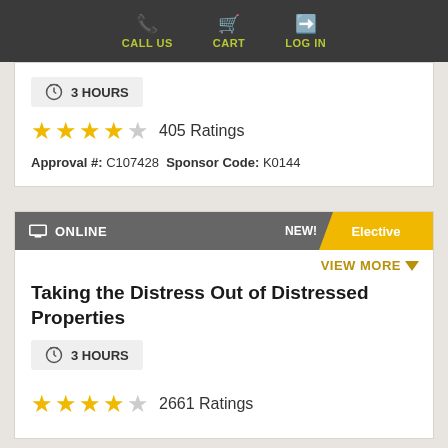CALL US  CART  LOG IN
3 HOURS
★★★★☆ 405 Ratings
Approval #: C107428  Sponsor Code: K0144
ONLINE  NEW!  Elective
VIEW MORE
Taking the Distress Out of Distressed Properties
3 HOURS
★★★★☆ 2661 Ratings